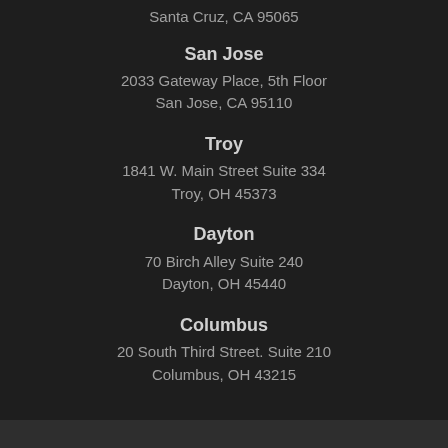Santa Cruz, CA 95065
San Jose
2033 Gateway Place, 5th Floor
San Jose, CA 95110
Troy
1841 W. Main Street Suite 334
Troy, OH 45373
Dayton
70 Birch Alley Suite 240
Dayton, OH 45440
Columbus
20 South Third Street. Suite 210
Columbus, OH 43215